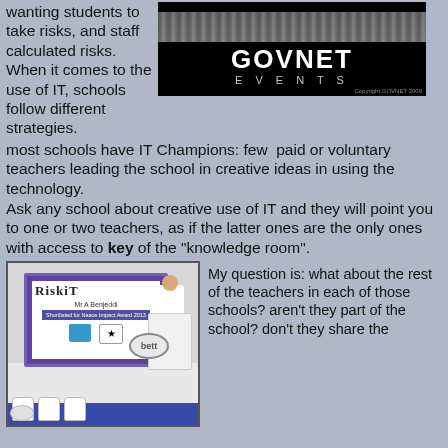wanting students to take risks, and staff calculated risks. When it comes to the use of IT, schools follow different strategies. most schools have IT Champions: few paid or voluntary teachers leading the school in creative ideas in using the technology.
[Figure (photo): GovNet Events conference hall photo showing a large audience and the GovNet Events logo on a dark screen]
Ask any school about creative use of IT and they will point you to one or two teachers, as if the latter ones are the only ones with access to key of the "knowledge room".
[Figure (photo): Photo of a presenter at a 'bett' event podium with a slide showing 'RiskIT - Mr A Benjeddi - Shortlisted for Naace Impact Award 2013']
My question is: what about the rest of the teachers in each of those schools? aren't they part of the school? don't they share the